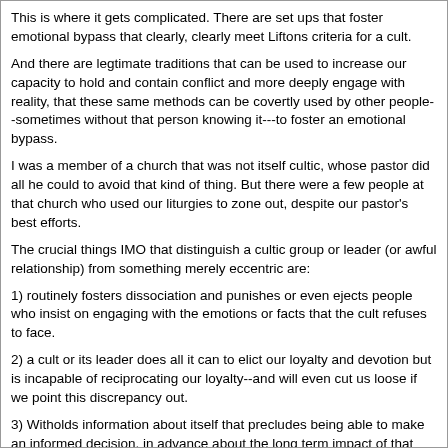This is where it gets complicated. There are set ups that foster emotional bypass that clearly, clearly meet Liftons criteria for a cult.
And there are legtimate traditions that can be used to increase our capacity to hold and contain conflict and more deeply engage with reality, that these same methods can be covertly used by other people--sometimes without that person knowing it---to foster an emotional bypass.
I was a member of a church that was not itself cultic, whose pastor did all he could to avoid that kind of thing. But there were a few people at that church who used our liturgies to zone out, despite our pastor's best efforts.
The crucial things IMO that distinguish a cultic group or leader (or awful relationship) from something merely eccentric are:
1) routinely fosters dissociation and punishes or even ejects people who insist on engaging with the emotions or facts that the cult refuses to face.
2) a cult or its leader does all it can to elict our loyalty and devotion but is incapable of reciprocating our loyalty--and will even cut us loose if we point this discrepancy out.
3) Witholds information about itself that precludes being able to make an informed decision, in advance about the long term impact of that group on ones emotional and intellectual development, ones health, ones finances, and ones relationship. All too often there is a bait and switch.
4) cannot permit even the tiniest degree of dissent and can only accept affirmation Any attempt to discuss side effects is resented--as witness many venues for BK adoration being available in cyberspace, RR.com being the only place where people can discuss side effects and yet RR.com constantly getting visits from folks who demand that we justify our illogic.